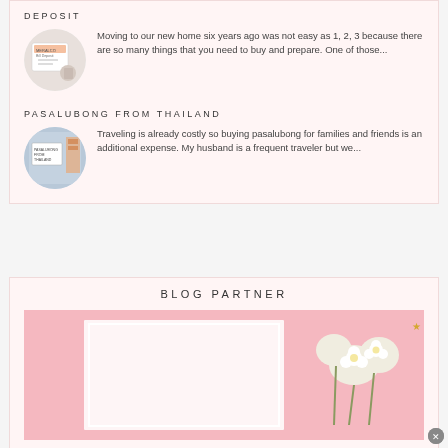DEPOSIT
[Figure (photo): Circular thumbnail showing Meralco Bill Deposit card being held]
Moving to our new home six years ago was not easy as 1, 2, 3 because there are so many things that you need to buy and prepare. One of those...
PASALUBONG FROM THAILAND
[Figure (photo): Circular thumbnail showing a pasalubong from Thailand sign in a market]
Traveling is already costly so buying pasalubong for families and friends is an additional expense. My husband is a frequent traveler but we...
BLOG PARTNER
[Figure (photo): Pink background with white flowers and decorative border, blog partner banner image]